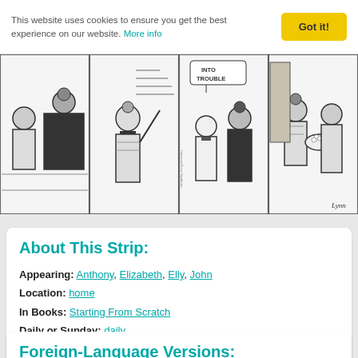This website uses cookies to ensure you get the best experience on our website. More info
[Figure (illustration): Four-panel black and white comic strip showing characters in various scenes including what appears to be domestic settings. Text 'INTO TROUBLE' visible in one panel. Artist signature 'Lynn' visible.]
About This Strip:
Appearing: Anthony, Elizabeth, Elly, John
Location: home
In Books: Starting From Scratch
Daily or Sunday: daily
Items: bowl of popcorn
Foreign-Language Versions: